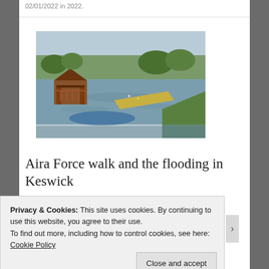02/01/2022 in 2022.
[Figure (photo): Flooded park with a gazebo partially submerged in water, trees in background, and wooden structures floating on the floodwater with grass on the right bank.]
Aira Force walk and the flooding in Keswick
Privacy & Cookies: This site uses cookies. By continuing to use this website, you agree to their use.
To find out more, including how to control cookies, see here: Cookie Policy
Close and accept